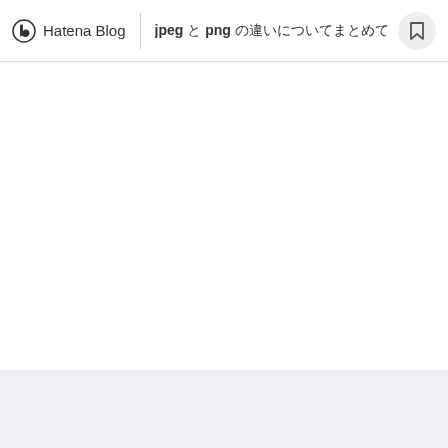Hatena Blog | jpeg と png の違いについてまとめてみた